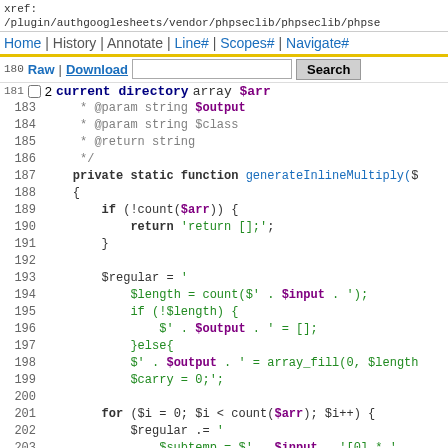xref: /plugin/authgooglesheets/vendor/phpseclib/phpseclib/phpse
Home | History | Annotate | Line# | Scopes# | Navigate#
Raw | Download  [Search]  current directory
Code lines 180-204 of PHP source file showing generateInlineMultiply function